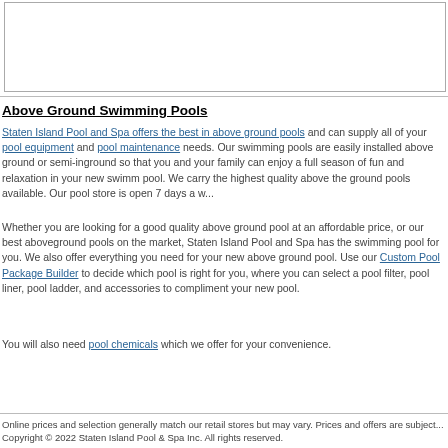[Figure (other): Image placeholder box with border]
Above Ground Swimming Pools
Staten Island Pool and Spa offers the best in above ground pools and can supply all of your pool equipment and pool maintenance needs. Our swimming pools are easily installed above ground or semi-inground so that you and your family can enjoy a full season of fun and relaxation in your new swimming pool. We carry the highest quality above the ground pools available. Our pool store is open 7 days a w...
Whether you are looking for a good quality above ground pool at an affordable price, or our best aboveground pools on the market, Staten Island Pool and Spa has the swimming pool for you. We also offer everything you need for your new above ground pool. Use our Custom Pool Package Builder to decide which pool is right for you, where you can select a pool filter, pool liner, pool ladder, and accessories to compliment your new pool.
You will also need pool chemicals which we offer for your convenience.
Online prices and selection generally match our retail stores but may vary. Prices and offers are subject... Copyright © 2022 Staten Island Pool & Spa Inc. All rights reserved.